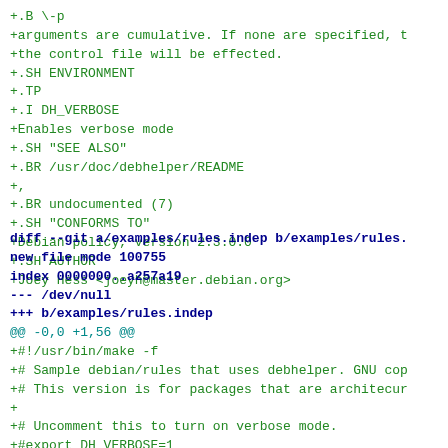+.B \-p
+arguments are cumulative. If none are specified, t
+the control file will be effected.
+.SH ENVIRONMENT
+.TP
+.I DH_VERBOSE
+Enables verbose mode
+.SH "SEE ALSO"
+.BR /usr/doc/debhelper/README
+,
+.BR undocumented (7)
+.SH "CONFORMS TO"
+Debian policy, version 2.3.0.0
+.SH AUTHOR
+Joey Hess <joeyh@master.debian.org>
diff --git a/examples/rules.indep b/examples/rules.
new file mode 100755
index 0000000..a257a19
--- /dev/null
+++ b/examples/rules.indep
@@ -0,0 +1,56 @@
+#!/usr/bin/make -f
+# Sample debian/rules that uses debhelper. GNU cop
+# This version is for packages that are architecur
+
+# Uncomment this to turn on verbose mode.
+#export DH_VERBOSE=1
+
+build: build-stamp